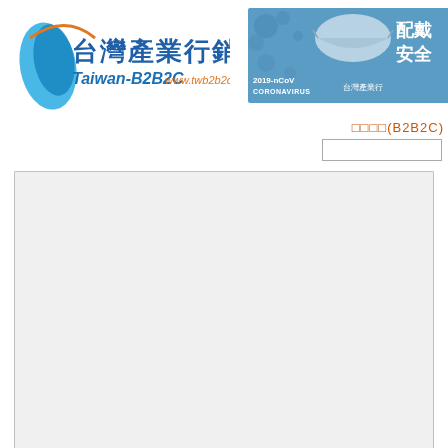[Figure (logo): Taiwan B2B2C 台灣產業行銷網 logo with Taiwan island silhouette and URL www.twb2b2c.net.tw]
[Figure (infographic): Banner showing 2019-nCoV Coronavirus mask safety promotion for Taiwan industry, with text 配戴 安全 台灣產業行]
台灣產業(B2B2C)
[Figure (screenshot): Search input box, white rectangle with border]
[Figure (screenshot): Large light grey content area with border, empty/blank main content region]
[Figure (screenshot): Bottom right white box with border and small title text]